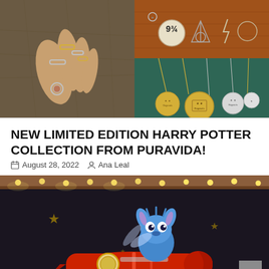[Figure (photo): Collage of Harry Potter jewelry: left shows a hand wearing multiple silver rings on a map background; top right shows Harry Potter themed pins/charms on orange leather (including 9¾ and Deathly Hallows); bottom right shows gold and silver round pendant necklaces on a teal/green background.]
NEW LIMITED EDITION HARRY POTTER COLLECTION FROM PURAVIDA!
August 28, 2022  Ana Leal
[Figure (photo): A Stitch (Disney character) figurine riding a red rocket/spaceship toy, set against a dark background with string lights and stars.]